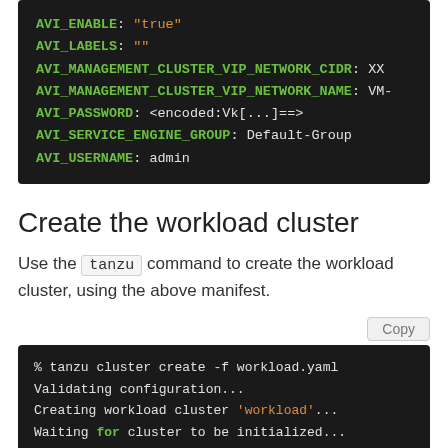[Figure (screenshot): Dark terminal code block showing AVI configuration key-value pairs: AVI_ENABLE: 'true', AVI_LABELS: '', AVI_MANAGEMENT_CLUSTER_VIP_NETWORK_CIDR: XX..., AVI_MANAGEMENT_CLUSTER_VIP_NETWORK_NAME: VM-..., AVI_PASSWORD: <encoded:Vk[...]==>, AVI_SERVICE_ENGINE_GROUP: Default-Group, AVI_USERNAME: admin]
Create the workload cluster
Use the tanzu command to create the workload cluster, using the above manifest.
[Figure (screenshot): Dark terminal code block showing: % tanzu cluster create -f workload.yaml, Validating configuration..., Creating workload cluster 'workload'..., Waiting for cluster to be initialized..., Waiting for cluster nodes to be available.., Waiting for addons installation..., Waiting for packages to be up and running..]